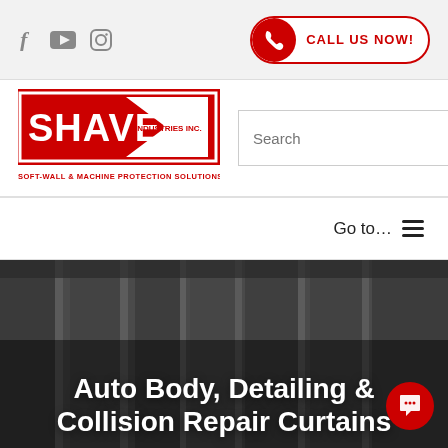[Figure (screenshot): Website header top bar with social media icons (Facebook, YouTube, Instagram) on the left and a red 'CALL US NOW!' button on the right]
[Figure (logo): Shaver Industries Inc. logo — red and white logo with text 'SHAVER INDUSTRIES INC.' and tagline 'SOFT-WALL & MACHINE PROTECTION SOLUTIONS']
[Figure (screenshot): Search bar with text input field labeled 'Search' and a black magnifying-glass button]
Go to…
Auto Body, Detailing & Collision Repair Curtains